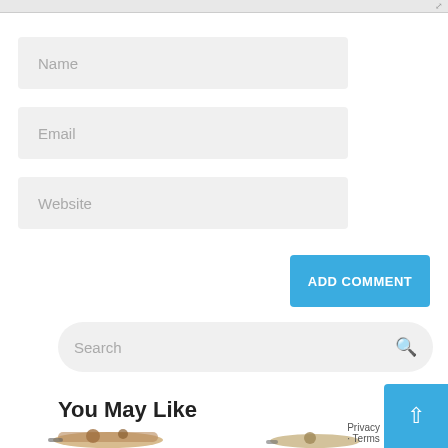[Figure (screenshot): Top edge of a text area input with a resize handle at the bottom-right corner]
Name
Email
Website
ADD COMMENT
Search
You May Like
[Figure (photo): Cookware set with pots and pans (left side, partial)]
[Figure (photo): Cookware item (right side, partial)]
[Figure (other): Back to top button (blue arrow up) with Privacy · Terms overlay]